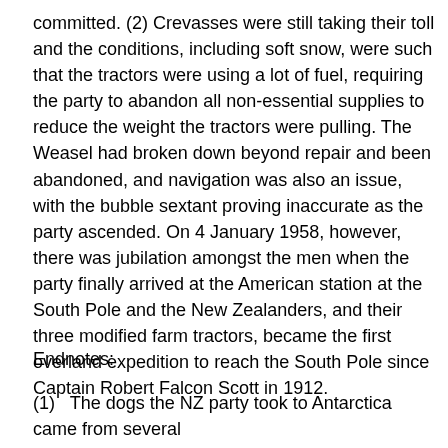committed. (2) Crevasses were still taking their toll and the conditions, including soft snow, were such that the tractors were using a lot of fuel, requiring the party to abandon all non-essential supplies to reduce the weight the tractors were pulling. The Weasel had broken down beyond repair and been abandoned, and navigation was also an issue, with the bubble sextant proving inaccurate as the party ascended. On 4 January 1958, however, there was jubilation amongst the men when the party finally arrived at the American station at the South Pole and the New Zealanders, and their three modified farm tractors, became the first overland expedition to reach the South Pole since Captain Robert Falcon Scott in 1912.
Endnotes:
(1)   The dogs the NZ party took to Antarctica came from several